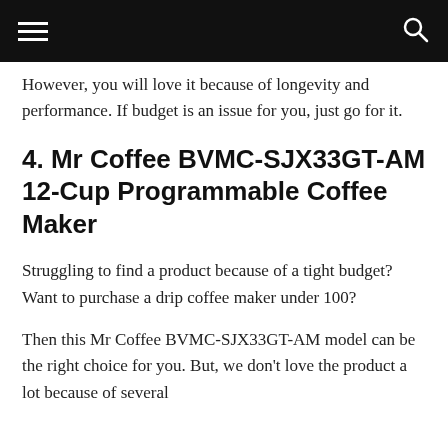[Navigation bar with hamburger menu and search icon]
However, you will love it because of longevity and performance. If budget is an issue for you, just go for it.
4. Mr Coffee BVMC-SJX33GT-AM 12-Cup Programmable Coffee Maker
Struggling to find a product because of a tight budget? Want to purchase a drip coffee maker under 100?
Then this Mr Coffee BVMC-SJX33GT-AM model can be the right choice for you. But, we don't love the product a lot because of several